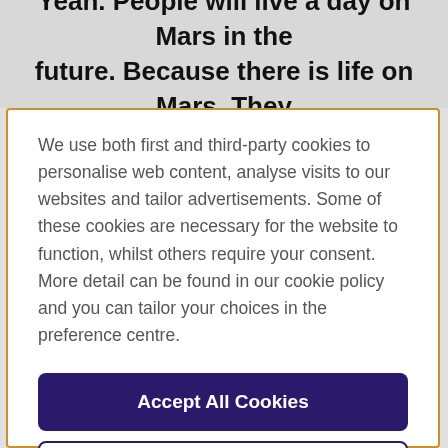Yeah. People will live a day on Mars in the future. Because there is life on Mars. They
We use both first and third-party cookies to personalise web content, analyse visits to our websites and tailor advertisements. Some of these cookies are necessary for the website to function, whilst others require your consent. More detail can be found in our cookie policy and you can tailor your choices in the preference centre.
Accept All Cookies
Cookies Settings